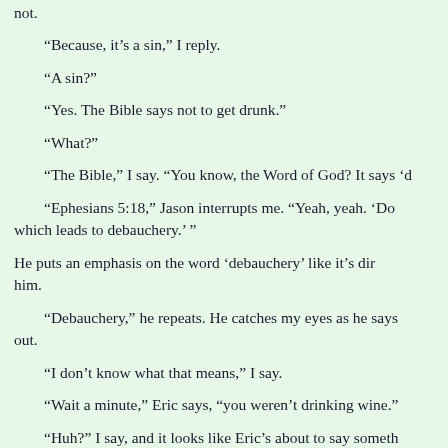not.
"Because, it's a sin," I reply.
"A sin?"
"Yes. The Bible says not to get drunk."
"What?"
"The Bible," I say. "You know, the Word of God? It says 'd
"Ephesians 5:18," Jason interrupts me. "Yeah, yeah. 'Do not get drunk on wine, which leads to debauchery.' "
He puts an emphasis on the word 'debauchery' like it's directed at him.
"Debauchery," he repeats. He catches my eyes as he says it and draws it out.
"I don't know what that means," I say.
"Wait a minute," Eric says, "you weren't drinking wine."
"Huh?" I say, and it looks like Eric's about to say something when Jason puts a finger to his lips and shakes his head.